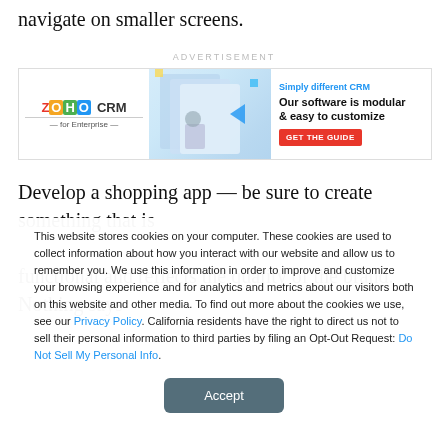navigate on smaller screens.
[Figure (screenshot): ZOHO CRM for Enterprise advertisement banner. Left side shows the Zoho CRM logo. Middle shows product imagery with documents and arrows. Right side shows text 'Simply different CRM' in blue, 'Our software is modular & easy to customize' in bold black, and a red 'GET THE GUIDE' button.]
Develop a shopping app — be sure to create something that is functional and reflects the quality of the brand. Nothing says
This website stores cookies on your computer. These cookies are used to collect information about how you interact with our website and allow us to remember you. We use this information in order to improve and customize your browsing experience and for analytics and metrics about our visitors both on this website and other media. To find out more about the cookies we use, see our Privacy Policy. California residents have the right to direct us not to sell their personal information to third parties by filing an Opt-Out Request: Do Not Sell My Personal Info.